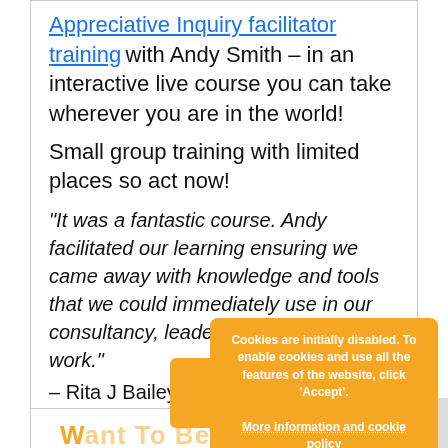Appreciative Inquiry facilitator training with Andy Smith – in an interactive live course you can take wherever you are in the world!
Small group training with limited places so act now!
“It was a fantastic course. Andy facilitated our learning ensuring we came away with knowledge and tools that we could immediately use in our consultancy, leadership coaching client work.” – Rita J Bailey, Coach,Facilitator,Mediator, MBTI Practitioner
[Figure (screenshot): Orange cookie consent banner overlay with text: 'Cookies are initially disabled. To enable cookies and use all the features of the website, click Accept. More information and cookie policy' and an Accept button.]
Want To Be A Bett...